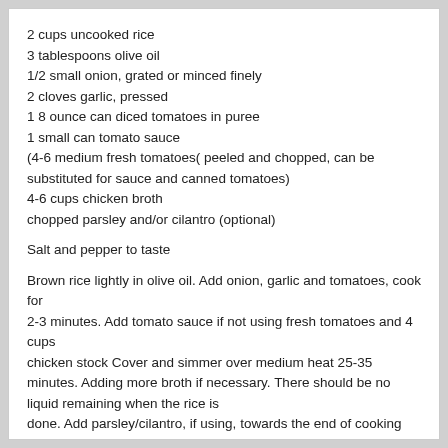2 cups uncooked rice
3 tablespoons olive oil
1/2 small onion, grated or minced finely
2 cloves garlic, pressed
1 8 ounce can diced tomatoes in puree
1 small can tomato sauce
(4-6 medium fresh tomatoes( peeled and chopped, can be substituted for sauce and canned tomatoes)
4-6 cups chicken broth
chopped parsley and/or cilantro (optional)
Salt and pepper to taste
Brown rice lightly in olive oil. Add onion, garlic and tomatoes, cook for 2-3 minutes. Add tomato sauce if not using fresh tomatoes and 4 cups chicken stock Cover and simmer over medium heat 25-35 minutes. Adding more broth if necessary. There should be no liquid remaining when the rice is done. Add parsley/cilantro, if using, towards the end of cooking time and adjust seasonings.
Makes 6 servings
Ensalada De Col (Mexican cole slaw)